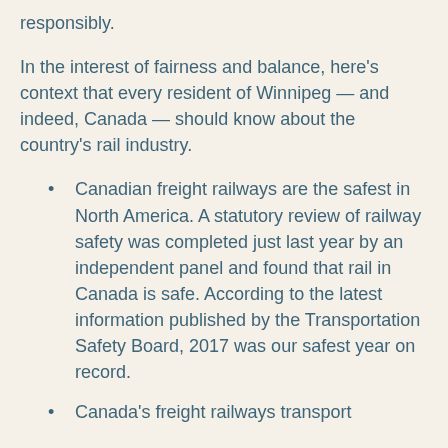responsibly.
In the interest of fairness and balance, here's context that every resident of Winnipeg — and indeed, Canada — should know about the country's rail industry.
Canadian freight railways are the safest in North America. A statutory review of railway safety was completed just last year by an independent panel and found that rail in Canada is safe. According to the latest information published by the Transportation Safety Board, 2017 was our safest year on record.
Canada's freight railways transport